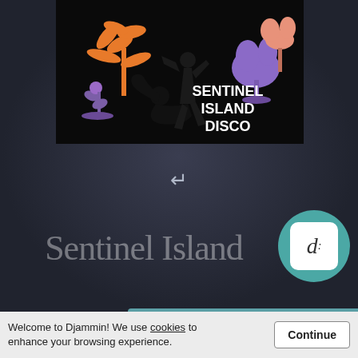[Figure (illustration): Album art for Sentinel Island Disco: stylized illustration on black background showing abstract figures with orange palm trees and purple plant, with text 'SENTINEL ISLAND DISCO' in white bold letters on the right side]
↵
Sentinel Island
[Figure (logo): Djammin app logo: white rounded square with stylized 'd:' symbol on teal circular background]
€€€€.€€
Welcome to Djammin! We use cookies to enhance your browsing experience.
Continue